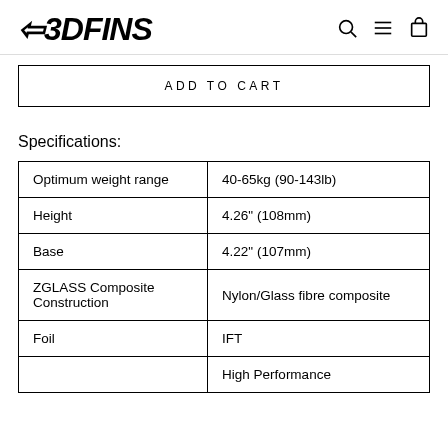3DFINS
ADD TO CART
Specifications:
|  |  |
| --- | --- |
| Optimum weight range | 40-65kg (90-143lb) |
| Height | 4.26" (108mm) |
| Base | 4.22" (107mm) |
| ZGLASS Composite Construction | Nylon/Glass fibre composite |
| Foil | IFT |
|  | High Performance |